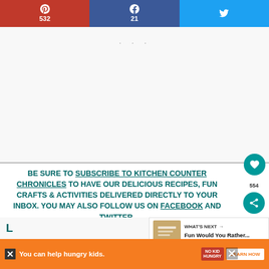[Figure (infographic): Social sharing bar with Pinterest (532), Facebook (21), and Twitter buttons]
[Figure (other): White advertisement placeholder area with three dots]
BE SURE TO SUBSCRIBE TO KITCHEN COUNTER CHRONICLES TO HAVE OUR DELICIOUS RECIPES, FUN CRAFTS & ACTIVITIES DELIVERED DIRECTLY TO YOUR INBOX. YOU MAY ALSO FOLLOW US ON FACEBOOK AND TWITTER.
[Figure (other): What's Next panel showing 'Fun Would You Rather...' with thumbnail]
[Figure (infographic): No Kid Hungry advertisement banner at bottom: 'You can help hungry kids. LEARN HOW']